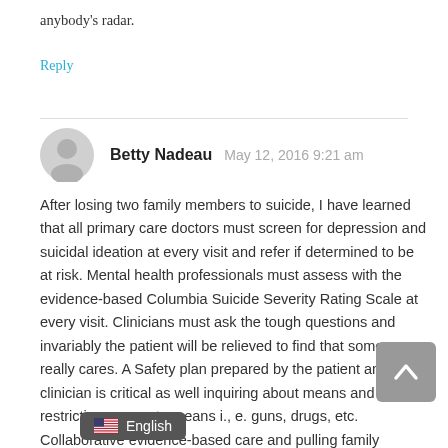anybody's radar.
Reply
Betty Nadeau   May 12, 2016 9:21 am
After losing two family members to suicide, I have learned that all primary care doctors must screen for depression and suicidal ideation at every visit and refer if determined to be at risk. Mental health professionals must assess with the evidence-based Columbia Suicide Severity Rating Scale at every visit. Clinicians must ask the tough questions and invariably the patient will be relieved to find that someone really cares. A Safety plan prepared by the patient and clinician is critical as well inquiring about means and restricting access to means i., e. guns, drugs, etc. Collaborative evidence-based care and pulling family me... ed ones into the care team is essential.